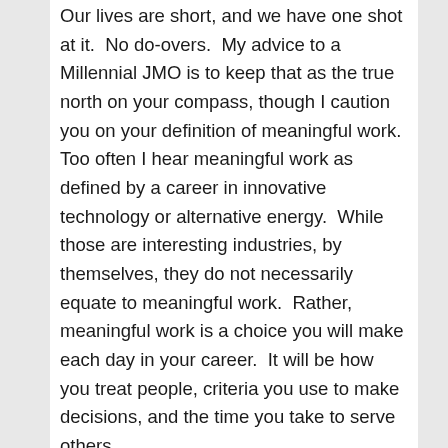Our lives are short, and we have one shot at it.  No do-overs.  My advice to a Millennial JMO is to keep that as the true north on your compass, though I caution you on your definition of meaningful work.  Too often I hear meaningful work as defined by a career in innovative technology or alternative energy.  While those are interesting industries, by themselves, they do not necessarily equate to meaningful work.  Rather, meaningful work is a choice you will make each day in your career.  It will be how you treat people, criteria you use to make decisions, and the time you take to serve others.
2. Engaging with technology.  This topic is discussed often, but from my perspective, I'll reiterate it here. Cameron-Brooks has had to adapt and develop new technology